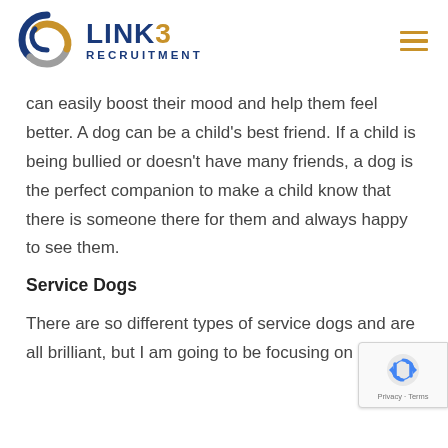[Figure (logo): Link3 Recruitment logo with spiral icon and LINK3 RECRUITMENT text]
can easily boost their mood and help them feel better. A dog can be a child's best friend. If a child is being bullied or doesn't have many friends, a dog is the perfect companion to make a child know that there is someone there for them and always happy to see them.
Service Dogs
There are so different types of service dogs and are all brilliant, but I am going to be focusing on